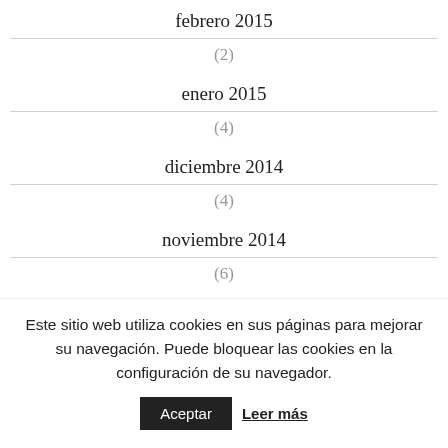febrero 2015
(2)
enero 2015
(4)
diciembre 2014
(4)
noviembre 2014
(6)
Este sitio web utiliza cookies en sus páginas para mejorar su navegación. Puede bloquear las cookies en la configuración de su navegador.
Aceptar  Leer más